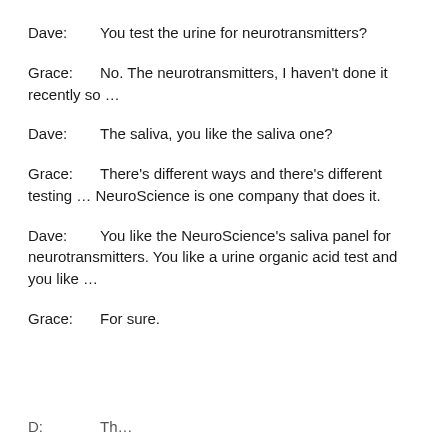Dave: You test the urine for neurotransmitters?
Grace: No. The neurotransmitters, I haven't done it recently so …
Dave: The saliva, you like the saliva one?
Grace: There's different ways and there's different testing … NeuroScience is one company that does it.
Dave: You like the NeuroScience's saliva panel for neurotransmitters. You like a urine organic acid test and you like …
Grace: For sure.
D... Th...